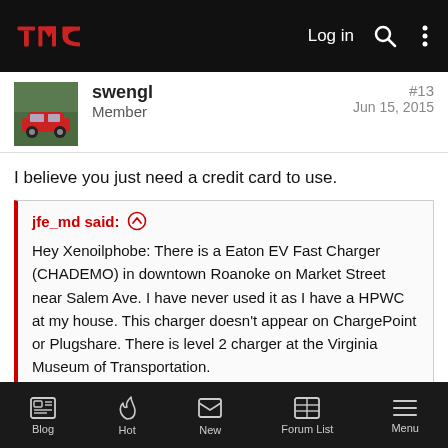[Figure (screenshot): TMC forum mobile app top navigation bar with TMC logo in red, Log in text, search and menu icons on black background]
swengl
Member
#13
Jun 15, 2015
I believe you just need a credit card to use.
jfe_md said: ↑

Hey Xenoilphobe: There is a Eaton EV Fast Charger (CHADEMO) in downtown Roanoke on Market Street near Salem Ave. I have never used it as I have a HPWC at my house. This charger doesn't appear on ChargePoint or Plugshare. There is level 2 charger at the Virginia Museum of Transportation.
[Figure (screenshot): TMC forum mobile app bottom navigation bar with Blog, Hot, New, Forum List, Menu icons on dark background]